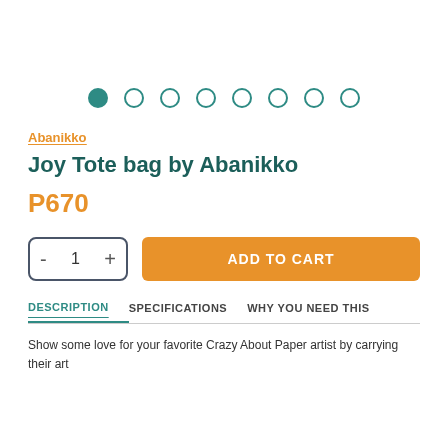[Figure (other): Image carousel dot indicators: 8 dots in a row, first one filled (teal/green), rest are empty circles]
Abanikko
Joy Tote bag by Abanikko
P670
- 1 +   ADD TO CART
DESCRIPTION   SPECIFICATIONS   WHY YOU NEED THIS
Show some love for your favorite Crazy About Paper artist by carrying their art